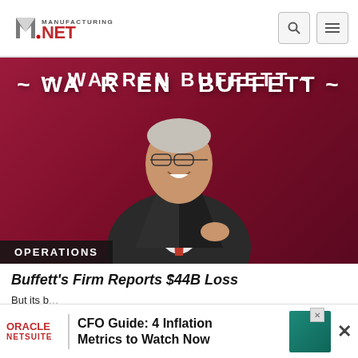Manufacturing.net
[Figure (photo): Photo of Warren Buffett smiling, wearing a dark suit and red striped tie, standing in front of a magenta/crimson background with text '~ WARREN BUFFETT ~'. A dark overlay label reads 'OPERATIONS' at the bottom left.]
Buffett's Firm Reports $44B Loss
But its b[...]
August 8, 2022